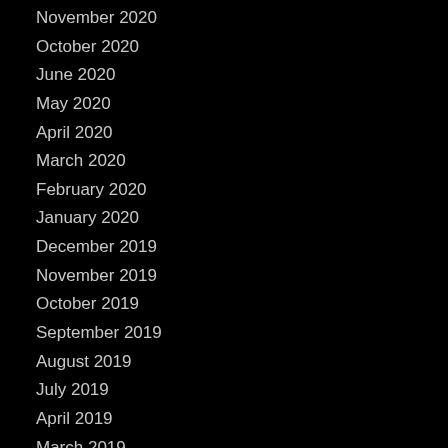November 2020
October 2020
June 2020
May 2020
April 2020
March 2020
February 2020
January 2020
December 2019
November 2019
October 2019
September 2019
August 2019
July 2019
April 2019
March 2019
December 2018